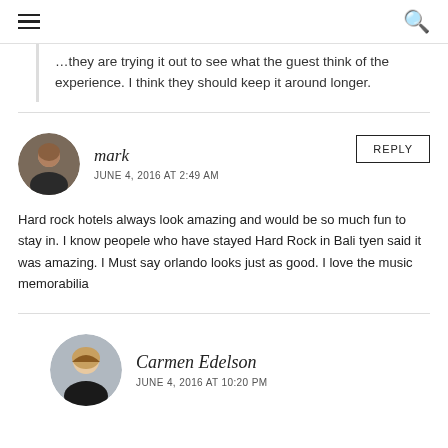Navigation menu and search icon
They are trying it out to see what the guest think of the experience. I think they should keep it around longer.
mark
JUNE 4, 2016 AT 2:49 AM
Hard rock hotels always look amazing and would be so much fun to stay in. I know peopele who have stayed Hard Rock in Bali tyen said it was amazing. I Must say orlando looks just as good. I love the music memorabilia
Carmen Edelson
JUNE 4, 2016 AT 10:20 PM